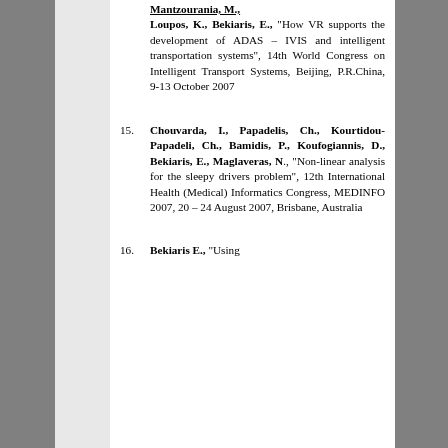Mantzourania, M., Loupos, K., Bekiaris, E., "How VR supports the development of ADAS – IVIS and intelligent transportation systems", 14th World Congress on Intelligent Transport Systems, Beijing, P.R.China, 9-13 October 2007
15. Chouvarda, I., Papadelis, Ch., Kourtidou-Papadeli, Ch., Bamidis, P., Koufogiannis, D., Bekiaris, E., Maglaveras, N., "Non-linear analysis for the sleepy drivers problem", 12th International Health (Medical) Informatics Congress, MEDINFO 2007, 20 – 24 August 2007, Brisbane, Australia
16. Bekiaris E., "Using...